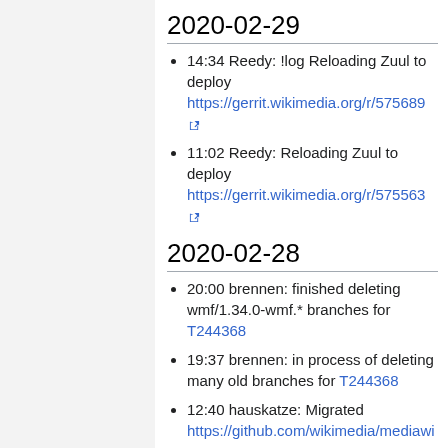2020-02-29
14:34 Reedy: !log Reloading Zuul to deploy https://gerrit.wikimedia.org/r/575689
11:02 Reedy: Reloading Zuul to deploy https://gerrit.wikimedia.org/r/575563
2020-02-28
20:00 brennen: finished deleting wmf/1.34.0-wmf.* branches for T244368
19:37 brennen: in process of deleting many old branches for T244368
12:40 hauskatze: Migrated https://github.com/wikimedia/mediawi